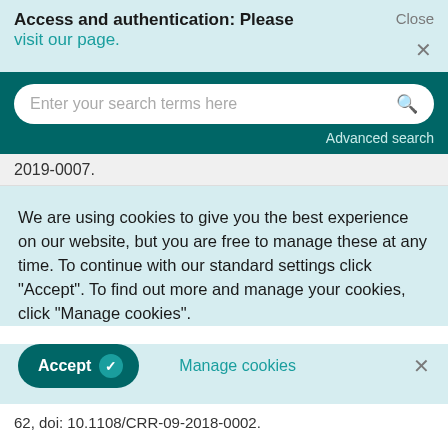Access and authentication: Please visit our page.
[Figure (screenshot): Search bar with placeholder text 'Enter your search terms here' and a magnifying glass icon on a dark teal background, with 'Advanced search' link below]
2019-0007.
We are using cookies to give you the best experience on our website, but you are free to manage these at any time. To continue with our standard settings click "Accept". To find out more and manage your cookies, click "Manage cookies".
Accept  Manage cookies  ×
62, doi: 10.1108/CRR-09-2018-0002.